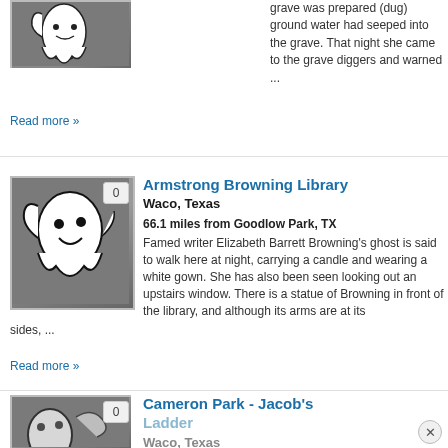grave was prepared (dug) ground water had seeped into the grave. That night she came to the grave diggers and warned ...
Read more »
[Figure (illustration): Ghost illustration - white cartoon ghost on grey background with badge showing 0]
Armstrong Browning Library
Waco, Texas
66.1 miles from Goodlow Park, TX
Famed writer Elizabeth Barrett Browning's ghost is said to walk here at night, carrying a candle and wearing a white gown. She has also been seen looking out an upstairs window. There is a statue of Browning in front of the library, and although its arms are at its sides, ...
Read more »
[Figure (illustration): Ghost illustration partial - white cartoon ghost on grey background with badge showing 0]
Cameron Park - Jacob's Ladder
Waco, Texas